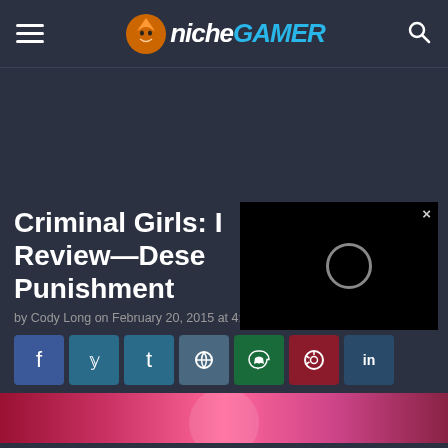Niche Gamer
Criminal Girls: I Review—Deserved Punishment
by Cody Long on February 20, 2015 at 4:29 PM, EST
[Figure (screenshot): Social share buttons: Facebook, Twitter, Tumblr, Reddit, WhatsApp, Pinterest, LinkedIn]
[Figure (photo): Bottom strip showing partial article image with pink/red tones]